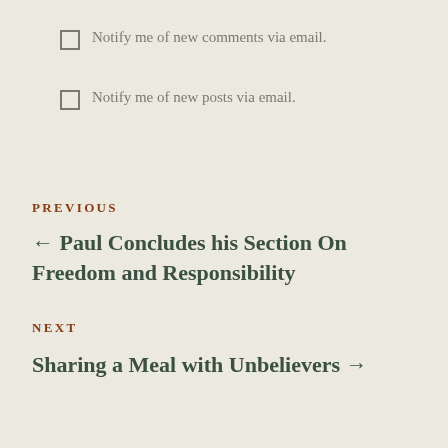Notify me of new comments via email.
Notify me of new posts via email.
PREVIOUS
← Paul Concludes his Section On Freedom and Responsibility
NEXT
Sharing a Meal with Unbelievers →